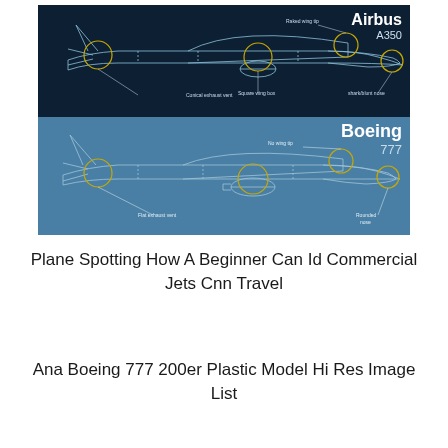[Figure (schematic): Engineering schematic comparison of Airbus A350 (dark navy background, top) and Boeing 777 (steel blue background, bottom). Both show side-profile cutaway diagrams of the aircraft with labeled circular callouts highlighting key features. Airbus A350 labels: Raked wing tip, Conical exhaust vent, Square wing box, Shark/blunt nose. Boeing 777 labels: No wing tip, Flat exhaust vent, Rounded nose. Brand names displayed in bold white text in upper-right of each section.]
Plane Spotting How A Beginner Can Id Commercial Jets Cnn Travel
Ana Boeing 777 200er Plastic Model Hi Res Image List